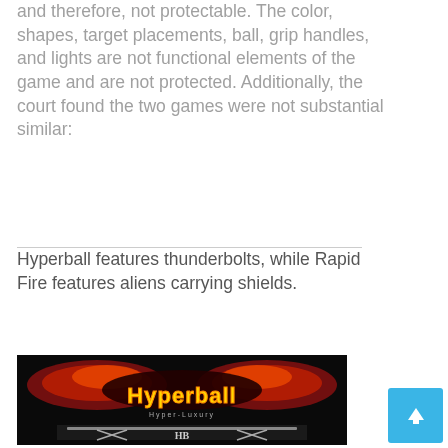and therefore, not protectable. The color, shapes, target placements, ball, grip handles, and lights are not functional elements of the game and are not protected. Additionally, the court found the two games were not substantial similar:
Hyperball features thunderbolts, while Rapid Fire features aliens carrying shields.
[Figure (photo): Photograph of a Hyperball pinball machine backglass lit up in the dark, showing the Hyperball logo in stylized text with red and orange decorative elements.]